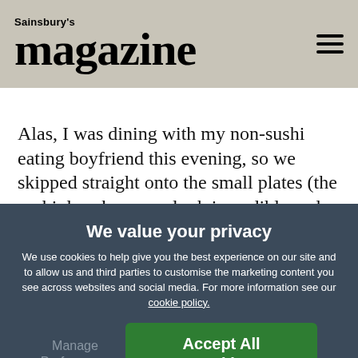Sainsbury's magazine
Alas, I was dining with my non-sushi eating boyfriend this evening, so we skipped straight onto the small plates (the sushi does however look incredible and beautifully presented, so I'll definitely be going back to sample it). The J.Fried karaage chicken did not disappoint - the gochujang mayo it came with was to die for and we were practically licking the bowl clean
We value your privacy
We use cookies to help give you the best experience on our site and to allow us and third parties to customise the marketing content you see across websites and social media. For more information see our cookie policy.
Manage Preferences
Accept All Cookies